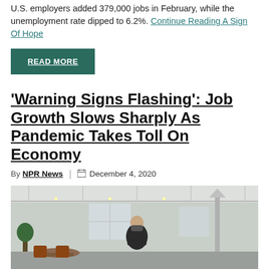U.S. employers added 379,000 jobs in February, while the unemployment rate dipped to 6.2%. Continue Reading A Sign Of Hope
READ MORE
'Warning Signs Flashing': Job Growth Slows Sharply As Pandemic Takes Toll On Economy
By NPR News | December 4, 2020
[Figure (photo): A person wearing a mask sitting at a table in an outdoor/tented restaurant with hanging lights and patio heaters]